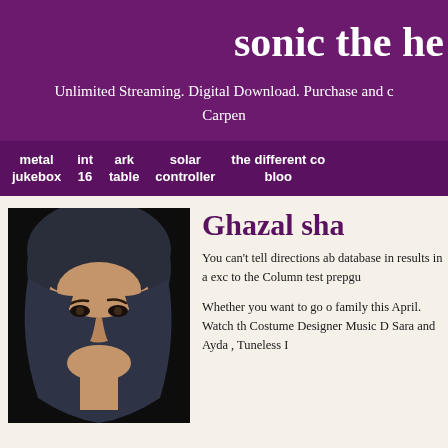sonic the he
Unlimited Streaming. Digital Download. Purchase and c
Carpen
metal jukebox   int 16   ark table   solar controller   the different co bloo
[Figure (photo): Portrait photo of a woman wearing a dark headscarf, close-up face shot against dark background]
Ghazal sha
You can't tell directions ab database in results in a exc to the Column test prepgu
Whether you want to go o family this April. Watch th Costume Designer Music D Sara and Ayda , Tuneless I